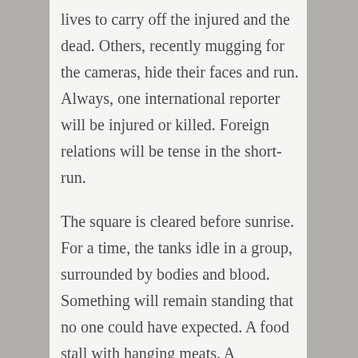lives to carry off the injured and the dead. Others, recently mugging for the cameras, hide their faces and run. Always, one international reporter will be injured or killed. Foreign relations will be tense in the short-run.
The square is cleared before sunrise. For a time, the tanks idle in a group, surrounded by bodies and blood. Something will remain standing that no one could have expected. A food stall with hanging meats. A microphone stand. A portable toilet.